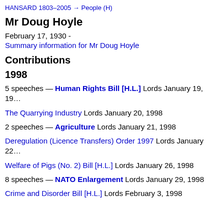HANSARD 1803–2005 → People (H)
Mr Doug Hoyle
February 17, 1930 -
Summary information for Mr Doug Hoyle
Contributions
1998
5 speeches — Human Rights Bill [H.L.] Lords January 19, 19…
The Quarrying Industry Lords January 20, 1998
2 speeches — Agriculture Lords January 21, 1998
Deregulation (Licence Transfers) Order 1997 Lords January 22…
Welfare of Pigs (No. 2) Bill [H.L.] Lords January 26, 1998
8 speeches — NATO Enlargement Lords January 29, 1998
Crime and Disorder Bill [H.L.] Lords February 3, 1998